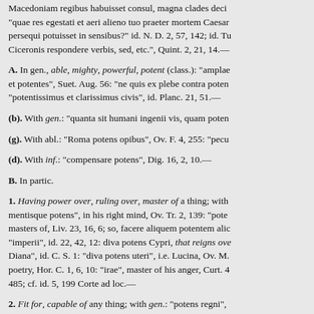Macedoniam regibus habuisset consul, magna clades deci... "quae res egestati et aeri alieno tuo praeter mortem Caesar persequi potuisset in sensibus?" id. N. D. 2, 57, 142; id. Tu Ciceronis respondere verbis, sed, etc.", Quint. 2, 21, 14.—
A. In gen., able, mighty, powerful, potent (class.): "amplae et potentes", Suet. Aug. 56: "ne quis ex plebe contra poten "potentissimus et clarissimus civis", id. Planc. 21, 51.—
(b). With gen.: "quanta sit humani ingenii vis, quam poten
(g). With abl.: "Roma potens opibus", Ov. F. 4, 255: "pecu
(d). With inf.: "compensare potens", Dig. 16, 2, 10.—
B. In partic.
1. Having power over, ruling over, master of a thing; with mentisque potens", in his right mind, Ov. Tr. 2, 139: "pote masters of, Liv. 23, 16, 6; so, facere aliquem potentem aliq "imperii", id. 22, 42, 12: diva potens Cypri, that reigns ove Diana", id. C. S. 1: "diva potens uteri", i.e. Lucina, Ov. M. poetry, Hor. C. 1, 6, 10: "irae", master of his anger, Curt. 4 485; cf. id. 5, 199 Corte ad loc.—
2. Fit for, capable of any thing; with gen.: "potens regni", id. 9, 29.